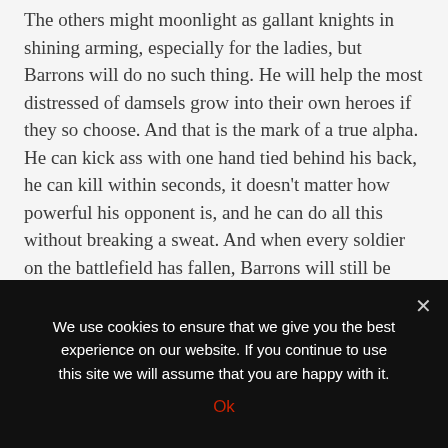The others might moonlight as gallant knights in shining arming, especially for the ladies, but Barrons will do no such thing. He will help the most distressed of damsels grow into their own heroes if they so choose. And that is the mark of a true alpha. He can kick ass with one hand tied behind his back, he can kill within seconds, it doesn't matter how powerful his opponent is, and he can do all this without breaking a sweat. And when every soldier on the battlefield has fallen, Barrons will still be standing. I mean, even death cannot defeat him.
What you end up feeling for Barrons during the course of the series isn't some light romantic feeling that randomly
We use cookies to ensure that we give you the best experience on our website. If you continue to use this site we will assume that you are happy with it.
Ok